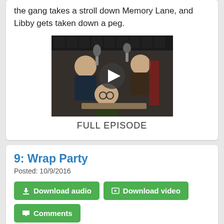the gang takes a stroll down Memory Lane, and Libby gets taken down a peg.
[Figure (photo): Video thumbnail showing podcast hosts in a recording studio with microphones; play button overlay. Caption below reads FULL EPISODE.]
FULL EPISODE
9: Wrap Party
Posted: 10/9/2016
Download audio
Download video
Comments
This week Libby is joined by recurring guest Danny Hatch (@DannyHatch). They break free from the usually rigid structure of the show to have an AMA